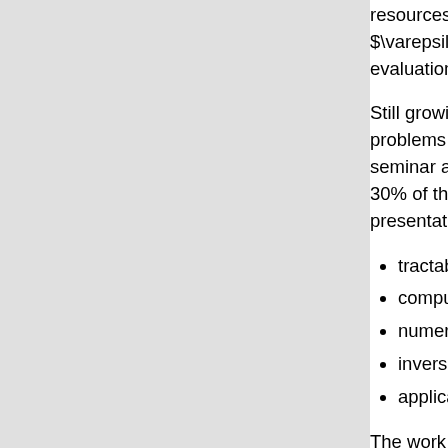resources. For example, in multivariate numerical in... $\varepsilon$-approximation to the integral with the m... evaluations.
Still growing need of efficiently solving more and mor... problems makes this branch of science both importa... seminar attracted 58 participants from 11 different co... 30% of them were young researchers including PhD... presentations covering in particular the following topi...
tractability of high dimensional problems
computational stochastic processes
numerical analysis of operator equations
inverse and ill-posed problems
applications in computer graphics and finance
The work of the attendants was supported by a varie... includes the Deutsche Forschungsgemeinschaft, the... the Defense Advanced Research Projects Agency (U... Council. Many of the attendants from Germany were... program SPP 1324 on "Extraction of Quantifiable Inf... which is strongly connected to the topics of the semi...
As always, the excellent working conditions and frien... Dagstuhl team have led to a rich exchange of ideas a... collaborations.